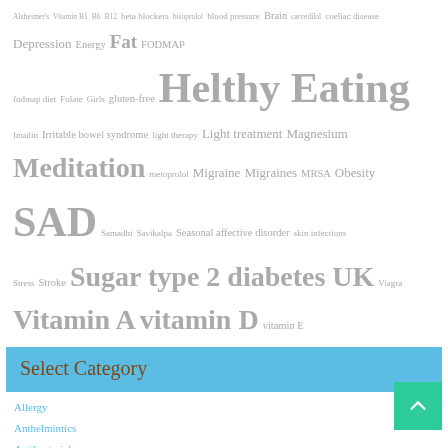Alzheimer's Vitamin B1 B6 B12 beta blockers bisoprolol blood pressure Brain carvedilol coeliac disease Depression Energy Fat FODMAP fodmap diet Folate Girls gluten-free Helthy Eating Insulin Irritable bowel syndrome light therapy Light treatment Magnesium Meditation metoprolol Migraine Migraines MRSA Obesity SAD Samadhi Savikalpa Seasonal affective disorder skin infections Stress Stroke Sugar type 2 diabetes UK Viagra Vitamin A vitamin D vitamin E
Select Category
Allergy
Anthelmintics
Antibacterial
Antibiotics
Antidepressants